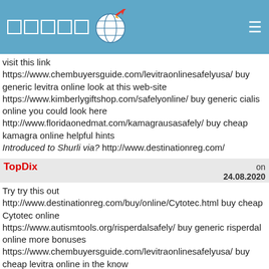[Figure (logo): Website header bar with blue background, five white square outlines, globe icon with arrow, and hamburger menu icon]
visit this link https://www.chembuyersguide.com/levitraonlinesafelyusa/ buy generic levitra online look at this web-site https://www.kimberlygiftshop.com/safelyonline/ buy generic cialis online you could look here http://www.floridaonedmat.com/kamagrausasafely/ buy cheap kamagra online helpful hints Introduced to Shurli via? http://www.destinationreg.com/
TopDix on 24.08.2020
Try try this out http://www.destinationreg.com/buy/online/Cytotec.html buy cheap Cytotec online https://www.autismtools.org/risperdalsafely/ buy generic risperdal online more bonuses https://www.chembuyersguide.com/levitraonlinesafelyusa/ buy cheap levitra online in the know https://www.kimberlygiftshop.com/safelyonline/ buy generic cialis online click this link now http://www.destinationreg.com/usa-kamagra/ buy cheap